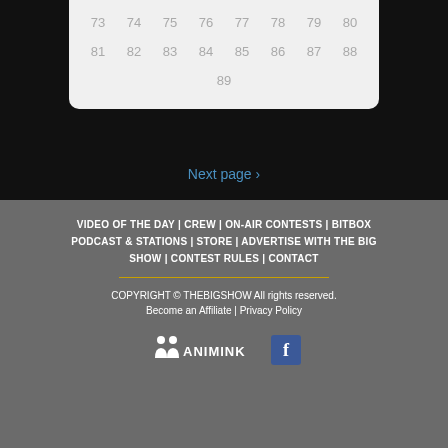73 74 75 76 77 78 79 80 81 82 83 84 85 86 87 88 89
Next page ›
VIDEO OF THE DAY | CREW | ON-AIR CONTESTS​ | BITBOX PODCAST & STATIONS | STORE | ADVERTISE WITH THE BIG SHOW | CONTEST RULES | CONTACT
COPYRIGHT © THEBIGSHOW All rights reserved.
Become an Affiliate | Privacy Policy
[Figure (logo): ANIMINK logo with person icons and Facebook icon]